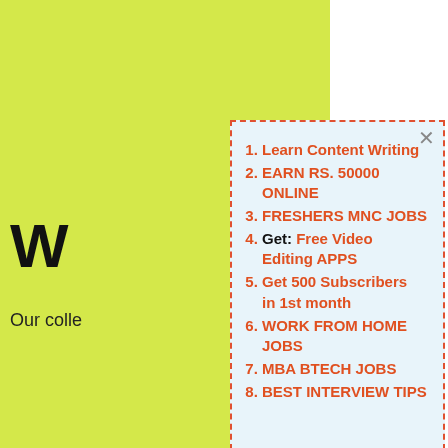W
Our colle
1. Learn Content Writing
2. EARN RS. 50000 ONLINE
3. FRESHERS MNC JOBS
4. Get: Free Video Editing APPS
5. Get 500 Subscribers in 1st month
6. WORK FROM HOME JOBS
7. MBA BTECH JOBS
8. BEST INTERVIEW TIPS